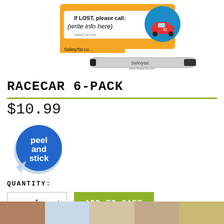[Figure (photo): SafetyTat product photo showing a racecar-themed safety ID sticker/tattoo with 'If LOST, please call: (write info here)' text and a marker pen, SafetyTat branding visible]
RACECAR 6-PACK
$10.99
[Figure (illustration): Blue circular peel-and-stick badge with white text reading 'peel and stick', with a peeling corner effect]
QUANTITY:
- 1 + ADD TO CART
[Figure (photo): Row of product thumbnail images at the bottom of the page]